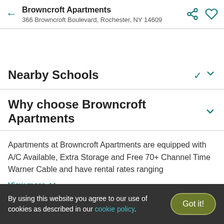Browncroft Apartments
366 Browncroft Boulevard, Rochester, NY 14609
Nearby Schools
Why choose Browncroft Apartments
Apartments at Browncroft Apartments are equipped with A/C Available, Extra Storage and Free 70+ Channel Time Warner Cable and have rental rates ranging
View more
By using this website you agree to our use of cookies as described in our cookie policy.